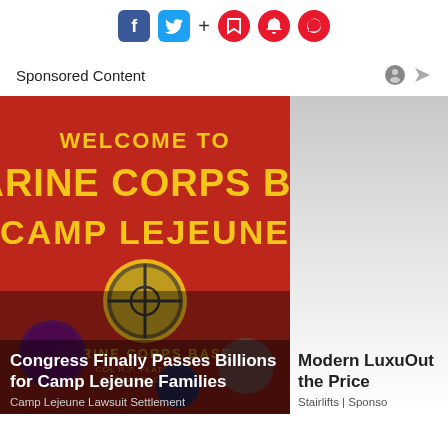[Figure (screenshot): Social media toolbar with Facebook, Twitter, plus sign, and three red circular icons (bookmark, bell, chat)]
Sponsored Content
[Figure (photo): Red Marine Corps Base Camp Lejeune welcome sign with military emblems. Overlay text reads: Congress Finally Passes Billions for Camp Lejeune Families. Subtext: Camp Lejeune Lawsuit Settlement]
[Figure (photo): Partially visible second sponsored card showing gradient gray background. Overlay text reads: Modern Luxu... Out the Price... Stairlifts | Sponso...]